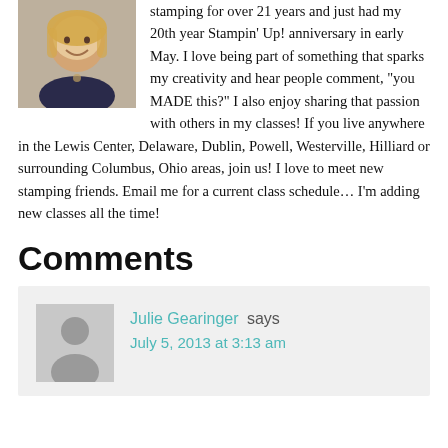[Figure (photo): Photo of a smiling blonde woman in a dark top]
stamping for over 21 years and just had my 20th year Stampin' Up! anniversary in early May. I love being part of something that sparks my creativity and hear people comment, "you MADE this?" I also enjoy sharing that passion with others in my classes! If you live anywhere in the Lewis Center, Delaware, Dublin, Powell, Westerville, Hilliard or surrounding Columbus, Ohio areas, join us! I love to meet new stamping friends. Email me for a current class schedule... I'm adding new classes all the time!
Comments
[Figure (illustration): Default user avatar silhouette icon]
Julie Gearinger says
July 5, 2013 at 3:13 am